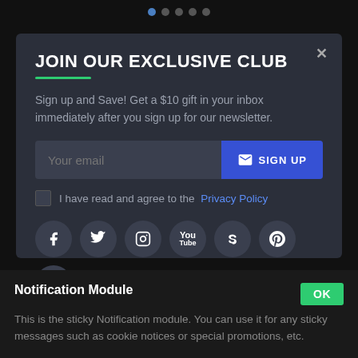[Figure (other): Slider pagination dots — one blue active dot and four grey dots]
JOIN OUR EXCLUSIVE CLUB
Sign up and Save! Get a $10 gift in your inbox immediately after you sign up for our newsletter.
[Figure (other): Email signup form with text field 'Your email' and blue 'SIGN UP' button with envelope icon]
I have read and agree to the Privacy Policy
[Figure (other): Social media icons row: Facebook, Twitter, Instagram, YouTube, Skype, Pinterest, WhatsApp]
Notification Module
This is the sticky Notification module. You can use it for any sticky messages such as cookie notices or special promotions, etc.